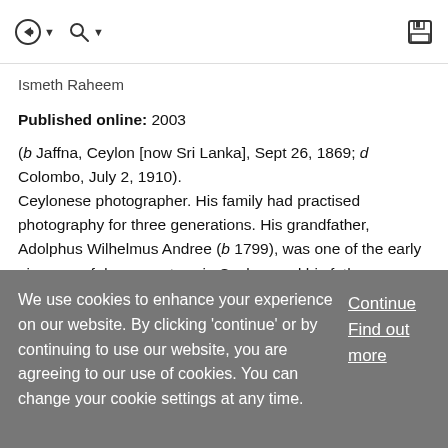[navigation icons: back/search/save]
Ismeth Raheem
Published online: 2003
(b Jaffna, Ceylon [now Sri Lanka], Sept 26, 1869; d Colombo, July 2, 1910).
Ceylonese photographer. His family had practised photography for three generations. His grandfather, Adolphus Wilhelmus Andree (b 1799), was one of the early pioneers of daguerreotypy in Ceylon, and his father, Adolphus William Andree, had a flourishing photographic business between the 1860s and 1880s with studios in the
We use cookies to enhance your experience on our website. By clicking 'continue' or by continuing to use our website, you are agreeing to our use of cookies. You can change your cookie settings at any time.
Continue
Find out more